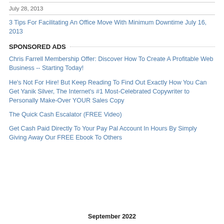July 28, 2013
3 Tips For Facilitating An Office Move With Minimum Downtime July 16, 2013
SPONSORED ADS
Chris Farrell Membership Offer: Discover How To Create A Profitable Web Business -- Starting Today!
He's Not For Hire! But Keep Reading To Find Out Exactly How You Can Get Yanik Silver, The Internet's #1 Most-Celebrated Copywriter to Personally Make-Over YOUR Sales Copy
The Quick Cash Escalator (FREE Video)
Get Cash Paid Directly To Your Pay Pal Account In Hours By Simply Giving Away Our FREE Ebook To Others
September 2022